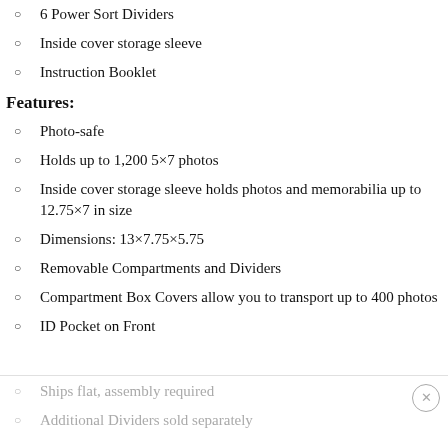6 Power Sort Dividers
Inside cover storage sleeve
Instruction Booklet
Features:
Photo-safe
Holds up to 1,200 5×7 photos
Inside cover storage sleeve holds photos and memorabilia up to 12.75×7 in size
Dimensions: 13×7.75×5.75
Removable Compartments and Dividers
Compartment Box Covers allow you to transport up to 400 photos
ID Pocket on Front
Ships flat, assembly required
Additional Dividers sold separately